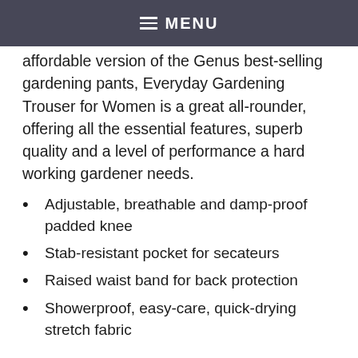≡ MENU
affordable version of the Genus best-selling gardening pants, Everyday Gardening Trouser for Women is a great all-rounder, offering all the essential features, superb quality and a level of performance a hard working gardener needs.
Adjustable, breathable and damp-proof padded knee
Stab-resistant pocket for secateurs
Raised waist band for back protection
Showerproof, easy-care, quick-drying stretch fabric
Women's Eden Gardening Jersey £55 – Designed as the perfect partner to the 3-Season Gardening Trousers, this high-performance jersey (also available for men) is cut from a technically advanced fabric made out of recycled plastic bottles and coffee fibres, and the extra-long body and thumb loop give protection when gardening